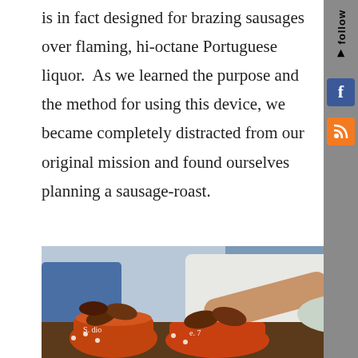is in fact designed for brazing sausages over flaming, hi-octane Portuguese liquor.  As we learned the purpose and the method for using this device, we became completely distracted from our original mission and found ourselves planning a sausage-roast.
[Figure (photo): A man in a white shirt laughing and reaching over a table, with terra cotta clay dishes holding grilled sausages in the foreground. Another person in a blue shirt is visible on the left.]